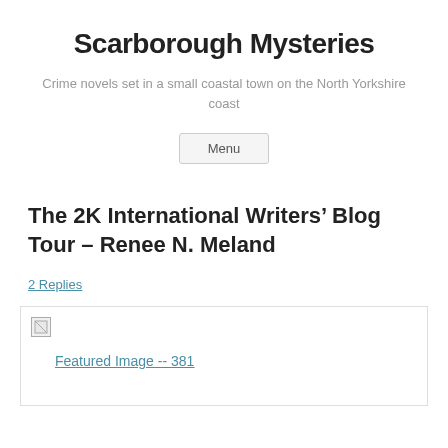Scarborough Mysteries
Crime novels set in a small coastal town on the North Yorkshire coast
Menu
The 2K International Writers’ Blog Tour – Renee N. Meland
2 Replies
[Figure (other): Featured image placeholder with broken image icon and link text 'Featured Image -- 381']